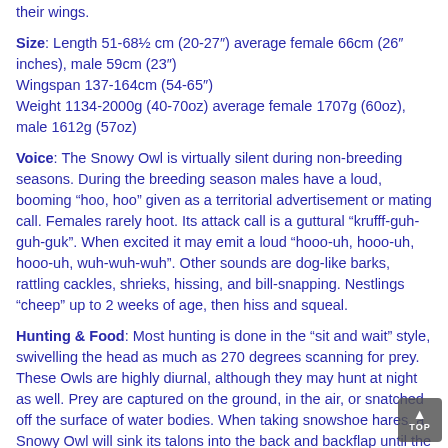their wings.
Size: Length 51-68½ cm (20-27″) average female 66cm (26″ inches), male 59cm (23″)
Wingspan 137-164cm (54-65″)
Weight 1134-2000g (40-70oz) average female 1707g (60oz), male 1612g (57oz)
Voice: The Snowy Owl is virtually silent during non-breeding seasons. During the breeding season males have a loud, booming “hoo, hoo” given as a territorial advertisement or mating call. Females rarely hoot. Its attack call is a guttural “krufff-guh-guh-guk”. When excited it may emit a loud “hooo-uh, hooo-uh, hooo-uh, wuh-wuh-wuh”. Other sounds are dog-like barks, rattling cackles, shrieks, hissing, and bill-snapping. Nestlings “cheep” up to 2 weeks of age, then hiss and squeal.
Hunting & Food: Most hunting is done in the “sit and wait” style, swivelling the head as much as 270 degrees scanning for prey. These Owls are highly diurnal, although they may hunt at night as well. Prey are captured on the ground, in the air, or snatched off the surface of water bodies. When taking snowshoe hares, a Snowy Owl will sink its talons into the back and backflap until the